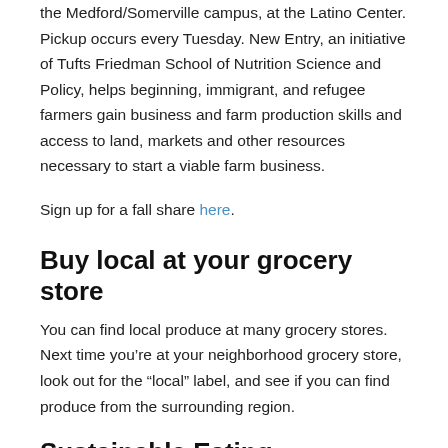the Medford/Somerville campus, at the Latino Center. Pickup occurs every Tuesday. New Entry, an initiative of Tufts Friedman School of Nutrition Science and Policy, helps beginning, immigrant, and refugee farmers gain business and farm production skills and access to land, markets and other resources necessary to start a viable farm business.
Sign up for a fall share here.
Buy local at your grocery store
You can find local produce at many grocery stores. Next time you're at your neighborhood grocery store, look out for the “local” label, and see if you can find produce from the surrounding region.
Sustainable Eating